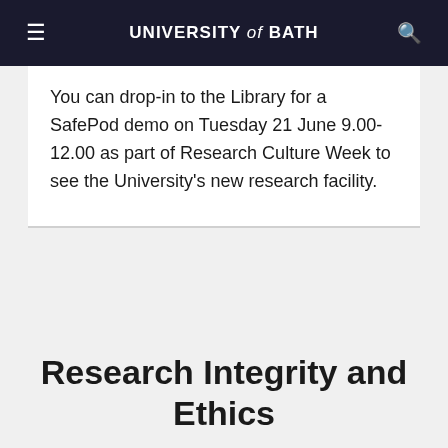UNIVERSITY of BATH
You can drop-in to the Library for a SafePod demo on Tuesday 21 June 9.00-12.00 as part of Research Culture Week to see the University's new research facility.
Research Integrity and Ethics